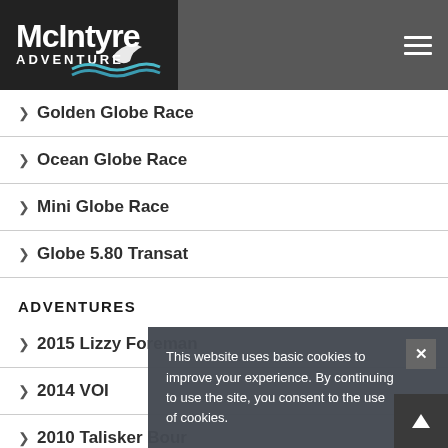McIntyre Adventure
Golden Globe Race
Ocean Globe Race
Mini Globe Race
Globe 5.80 Transat
ADVENTURES
2015 Lizzy Foreman
2014 VOI
2010 Talisker Bour...
2009 Pink Lady
This website uses basic cookies to improve your experience. By continuing to use the site, you consent to the use of cookies.